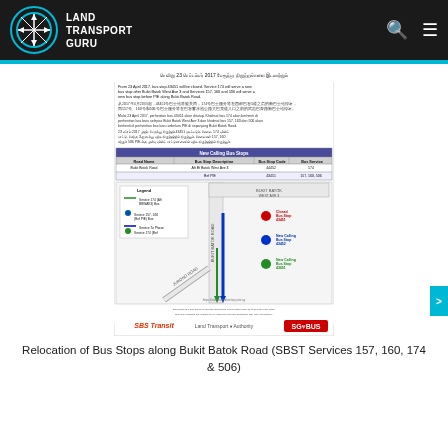Land Transport Guru
[Figure (infographic): Document notice about relocation of bus stops along Bukit Batok Road for SBST Services 157, 160, 174 & 506, including multilingual text (English, Chinese, Malay, Tamil), a table showing new calling bus stops with road names, bus stop descriptions, bus stop codes and bus services, a map diagram showing Bukit Batok Road area with closed and new calling bus stops marked, and SBS Transit / SG Bus logos.]
Relocation of Bus Stops along Bukit Batok Road (SBST Services 157, 160, 174 & 506)
Operator History: